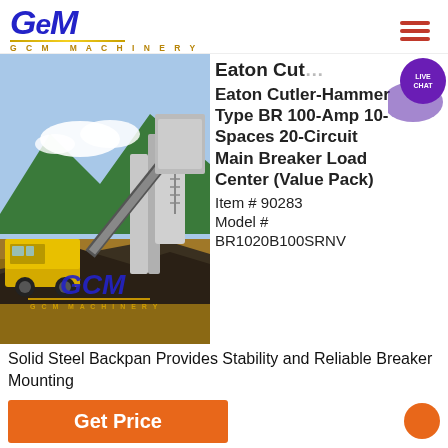GCM Machinery
[Figure (photo): Construction site with heavy machinery (loader/bulldozer) moving rock and gravel, industrial crushing/screening plant in background, mountains visible, GCM Machinery logo overlaid on photo]
Eaton Cutler-Hammer Type BR 100-Amp 10-Spaces 20-Circuit Main Breaker Load Center (Value Pack) Item # 90283 Model # BR1020B100SRNV
Solid Steel Backpan Provides Stability and Reliable Breaker Mounting
Get Price
Get a Quote
WhatsApp